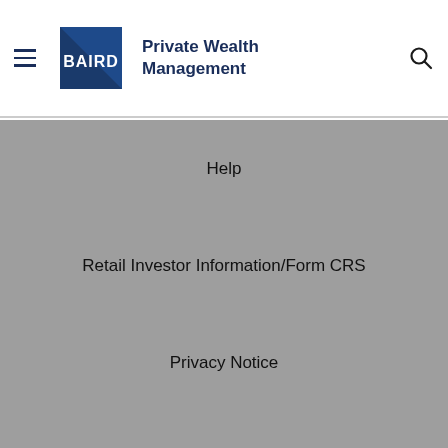Baird Private Wealth Management
Help
Retail Investor Information/Form CRS
Privacy Notice
Financial Information
Baird uses cookies to give you the best experience on our website. Some of these cookies are essential, while others help us to improve your experience. Please accept cookies to continue. By continuing to browse, you agree to the use of our cookies. For more detailed information on our use of cookies and our data privacy protections, please see our Cookie Policy and our Privacy Notice.
CLOSE